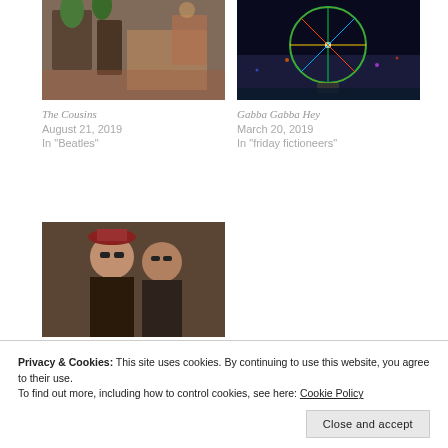[Figure (photo): Photo of a restaurant interior with colorful decor and plants - The Cousins]
The Cousins
August 21, 2019
In "Beatles"
[Figure (photo): Photo of a ferris wheel lit up at night over water - Gabba Gabba Hey]
Gabba Gabba Hey
March 20, 2019
In "friday fictioneers"
[Figure (photo): Photo of two people wearing sunglasses - Before And After]
Before And After
August 19, 2019
In "Beatles"
Privacy & Cookies: This site uses cookies. By continuing to use this website, you agree to their use.
To find out more, including how to control cookies, see here: Cookie Policy
Close and accept